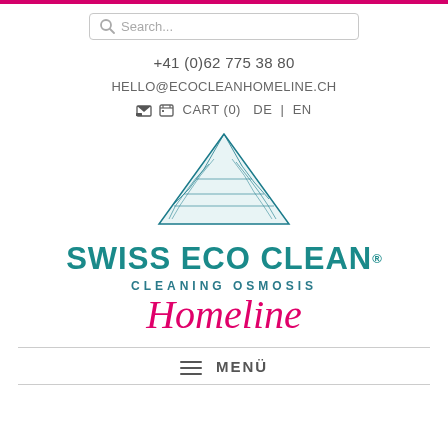[Figure (screenshot): Top magenta/pink bar decorative stripe]
[Figure (other): Search box with magnifier icon and placeholder text 'Search...']
+41 (0)62 775 38 80
HELLO@ECOCLEANHOMELINE.CH
🛒 CART (0)   DE  |  EN
[Figure (logo): Swiss Eco Clean Homeline logo: mountain illustration above text SWISS ECO CLEAN® CLEANING OSMOSIS Homeline in teal and pink]
≡  MENÜ